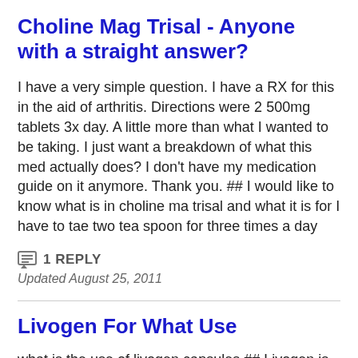Choline Mag Trisal - Anyone with a straight answer?
I have a very simple question. I have a RX for this in the aid of arthritis. Directions were 2 500mg tablets 3x day. A little more than what I wanted to be taking. I just want a breakdown of what this med actually does? I don't have my medication guide on it anymore. Thank you. ## I would like to know what is in choline ma trisal and what it is for I have to tae two tea spoon for three times a day
1 REPLY
Updated August 25, 2011
Livogen For What Use
what is the use of livogen capsules ## Livogen is a